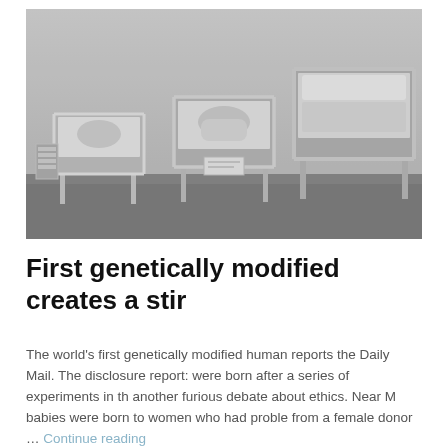[Figure (photo): Black and white photograph of newborn babies in hospital cribs/bassinets in a nursery ward, with metal-framed rolling cots lined up]
First genetically modified creates a stir
The world's first genetically modified human reports the Daily Mail. The disclosure reports were born after a series of experiments in th another furious debate about ethics. Near M babies were born to women who had proble from a female donor … Continue reading